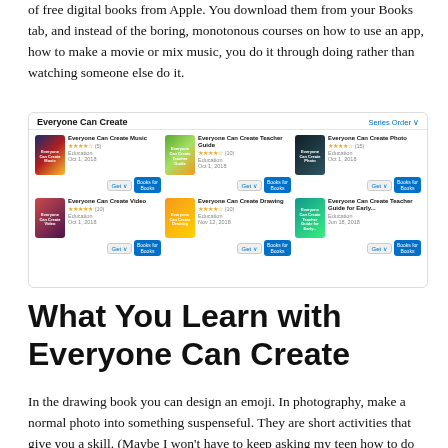of free digital books from Apple. You download them from your Books tab, and instead of the boring, monotonous courses on how to use an app, how to make a movie or mix music, you do it through doing rather than watching someone else do it.
[Figure (screenshot): Apple Books store screenshot showing 'Everyone Can Create' series with 6 books: Everyone Can Create Music, Everyone Can Create Teacher Guide, Everyone Can Create Photo, Everyone Can Create Video, Everyone Can Create Drawing, Everyone Can Create Teacher Guide for Early...]
What You Learn with Everyone Can Create
In the drawing book you can design an emoji. In photography, make a normal photo into something suspenseful. They are short activities that give you a skill. (Maybe I won't have to keep asking my teen how to do video effects now). Those guides help students, teachers and parents